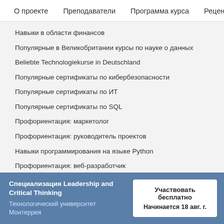О проекте   Преподаватели   Программа курса   Рецензи
Навыки в области финансов
Популярные в Великобритании курсы по науке о данных
Beliebte Technologiekurse in Deutschland
Популярные сертификаты по кибербезопасности
Популярные сертификаты по ИТ
Популярные сертификаты по SQL
Профориентация: маркетолог
Профориентация: руководитель проектов
Навыки программирования на языке Python
Профориентация: веб-разработчик
Специализация Leadership and Critical Thinking
Технологический университет Монтеррея
Участвовать бесплатно
Начинается 18 авг. г.